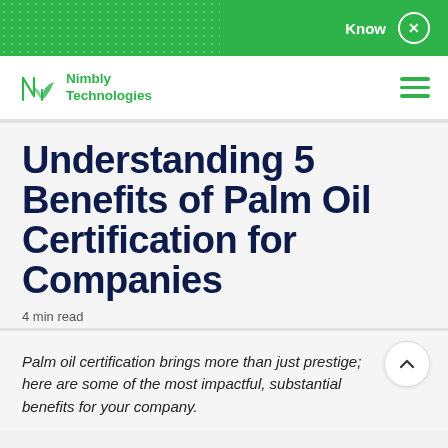Know ×
[Figure (logo): Nimbly Technologies logo with green stylized N and plant icon]
Understanding 5 Benefits of Palm Oil Certification for Companies
4 min read
Palm oil certification brings more than just prestige; here are some of the most impactful, substantial benefits for your company.